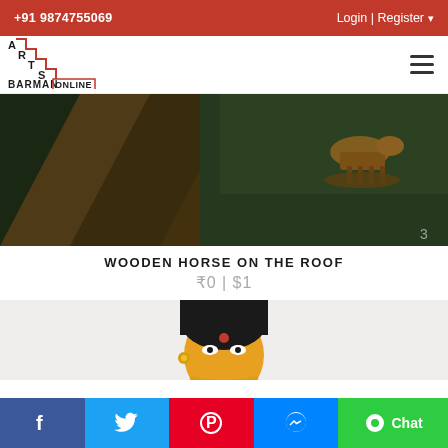+91 9874755069   Login | Register
[Figure (logo): Arts Barman Online logo with staircase design in red and black]
[Figure (photo): Painting of a wooden horse toy on a rooftop/boat structure with dark moody colors]
WOODEN HORSE ON THE ROOF
₹0 | $1
[Figure (photo): Illustration of Indian woman face with traditional jewelry on light background]
f  [Twitter bird]  [Pinterest P]  [Messenger]  Chat